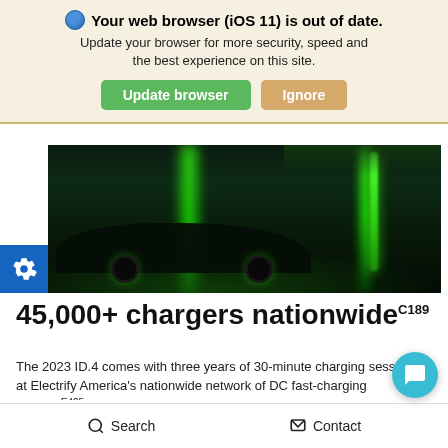Your web browser (iOS 11) is out of date. Update your browser for more security, speed and the best experience on this site.
[Figure (screenshot): Browser update notification banner with 'Update browser' (green) and 'Ignore' (tan) buttons]
[Figure (photo): Dark nighttime photo of an electric vehicle at a green-lit DC fast-charging station]
45,000+ chargers nationwide C189
The 2023 ID.4 comes with three years of 30-minute charging sessions at Electrify America's nationwide network of DC fast-charging stations E425 — starting from your date of vehicle purchase. Electrify America operates more than 1,700...
Search   Contact